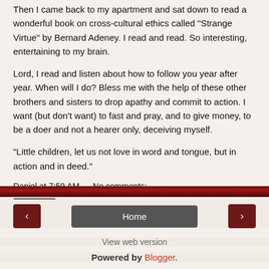Then I came back to my apartment and sat down to read a wonderful book on cross-cultural ethics called "Strange Virtue" by Bernard Adeney. I read and read. So interesting, entertaining to my brain.
Lord, I read and listen about how to follow you year after year. When will I do? Bless me with the help of these other brothers and sisters to drop apathy and commit to action. I want (but don't want) to fast and pray, and to give money, to be a doer and not a hearer only, deceiving myself.
"Little children, let us not love in word and tongue, but in action and in deed."
Daniel at 7:59 AM    No comments:
Share
‹    Home    ›   View web version   Powered by Blogger.